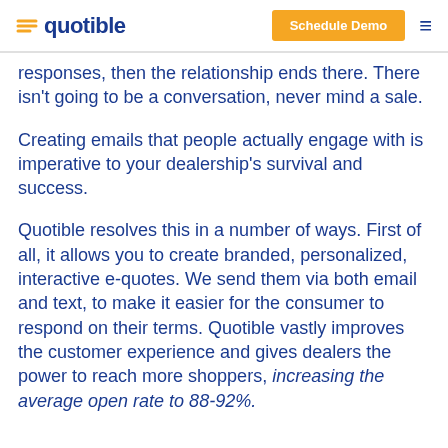quotible | Schedule Demo
responses, then the relationship ends there. There isn't going to be a conversation, never mind a sale.
Creating emails that people actually engage with is imperative to your dealership's survival and success.
Quotible resolves this in a number of ways. First of all, it allows you to create branded, personalized, interactive e-quotes. We send them via both email and text, to make it easier for the consumer to respond on their terms. Quotible vastly improves the customer experience and gives dealers the power to reach more shoppers, increasing the average open rate to 88-92%.